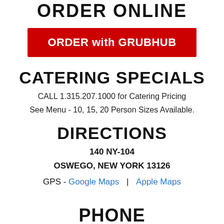ORDER ONLINE
ORDER with GRUBHUB
CATERING SPECIALS
CALL 1.315.207.1000 for Catering Pricing
See Menu - 10, 15, 20 Person Sizes Available.
DIRECTIONS
140 NY-104
OSWEGO, NEW YORK 13126
GPS - Google Maps | Apple Maps
PHONE